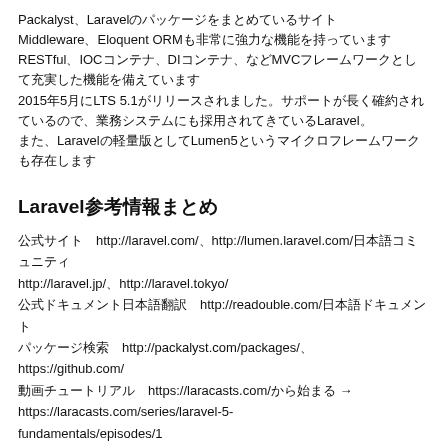Packalyst、LaravelのパッケージをまとめているサイトMiddleware、Eloquent ORMも非常に強力な機能を持っていますRESTful、IOCコンテナ、DIコンテナ、などMVCフレームワークとして充実した機能を備えています2015年5月にLTS 5.1がリリースされました。サポートが長く確約されているので、業務システムにも採用されてきているLaravel。また、Laravelの軽量版としてLumen5というマイクロフレームワークも存在します
Laravel参考情報まとめ
公式サイト　http://laravel.com/、http://lumen.laravel.com/日本語コミュニティhttp://laravel.jp/、http://laravel.tokyo/公式ドキュメント日本語翻訳　http://readouble.com/日本語ドキュメントパッケージ検索　http://packalyst.com/packages/、https://github.com/動画チュートリアル　https://laracasts.com/から始まる→ https://laracasts.com/series/laravel-5-fundamentals/episodes/1オンラインコースの日本語版もある→